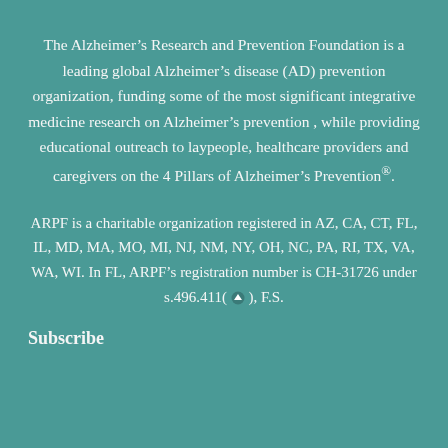The Alzheimer's Research and Prevention Foundation is a leading global Alzheimer's disease (AD) prevention organization, funding some of the most significant integrative medicine research on Alzheimer's prevention , while providing educational outreach to laypeople, healthcare providers and caregivers on the 4 Pillars of Alzheimer's Prevention®.
ARPF is a charitable organization registered in AZ, CA, CT, FL, IL, MD, MA, MO, MI, NJ, NM, NY, OH, NC, PA, RI, TX, VA, WA, WI. In FL, ARPF's registration number is CH-31726 under s.496.411(↑), F.S.
Subscribe